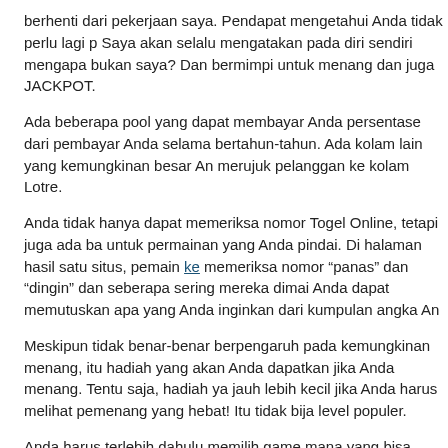berhenti dari pekerjaan saya. Pendapat mengetahui Anda tidak perlu lagi p Saya akan selalu mengatakan pada diri sendiri mengapa bukan saya? Dan bermimpi untuk menang dan juga JACKPOT.
Ada beberapa pool yang dapat membayar Anda persentase dari pembayar Anda selama bertahun-tahun. Ada kolam lain yang kemungkinan besar An merujuk pelanggan ke kolam Lotre.
Anda tidak hanya dapat memeriksa nomor Togel Online, tetapi juga ada ba untuk permainan yang Anda pindai. Di halaman hasil satu situs, pemain ke memeriksa nomor “panas” dan “dingin” dan seberapa sering mereka dimai Anda dapat memutuskan apa yang Anda inginkan dari kumpulan angka An
Meskipun tidak benar-benar berpengaruh pada kemungkinan menang, itu hadiah yang akan Anda dapatkan jika Anda menang. Tentu saja, hadiah ya jauh lebih kecil jika Anda harus melihat pemenang yang hebat! Itu tidak bija level populer.
Anda harus terlebih dahulu memilih game mana yang bisa menjadi situs te daripada membuat komitmen untuk melakukannya secara teratur. Selanjut untuk membuat anggaran cepat dari apa yang dapat Anda bayar untuk ber taruhan yang nyaman. Suatu kali saya membaca tentang seorang pemuda yang memenangkan beberapa juta dolar. Kabar baik! Kemudian saya mem